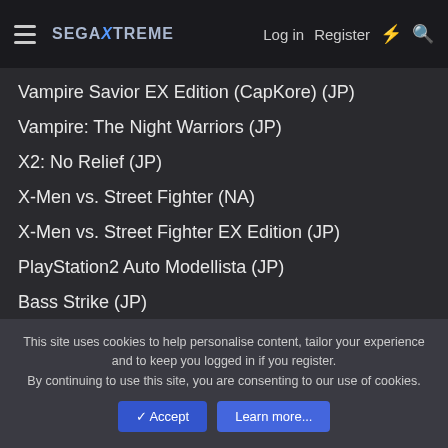SegaXtreme — Log in   Register
Vampire Savior EX Edition (CapKore) (JP)
Vampire: The Night Warriors (JP)
X2: No Relief (JP)
X-Men vs. Street Fighter (NA)
X-Men vs. Street Fighter EX Edition (JP)
PlayStation2 Auto Modellista (JP)
Bass Strike (JP)
This site uses cookies to help personalise content, tailor your experience and to keep you logged in if you register.
By continuing to use this site, you are consenting to our use of cookies.